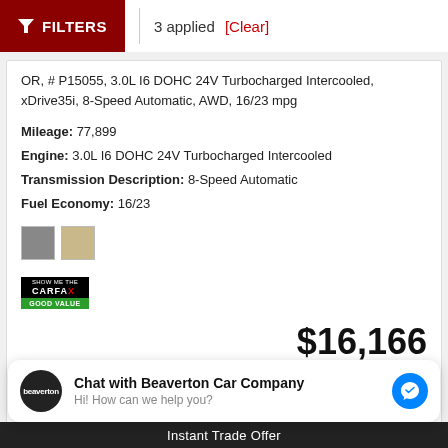FILTERS | 3 applied [Clear]
OR, # P15055, 3.0L I6 DOHC 24V Turbocharged Intercooled, xDrive35i, 8-Speed Automatic, AWD, 16/23 mpg
Mileage: 77,899
Engine: 3.0L I6 DOHC 24V Turbocharged Intercooled
Transmission Description: 8-Speed Automatic
Fuel Economy: 16/23
[Figure (other): Color swatches: gray and tan/beige]
[Figure (logo): CARFAX SHOW ME THE CARFAX badge with GOOD VALUE label]
$16,166
Starting Price  $18,500
Dealer Discount  - $2,334
Chat with Beaverton Car Company
Hi! How can we help you?
Instant Trade Offer